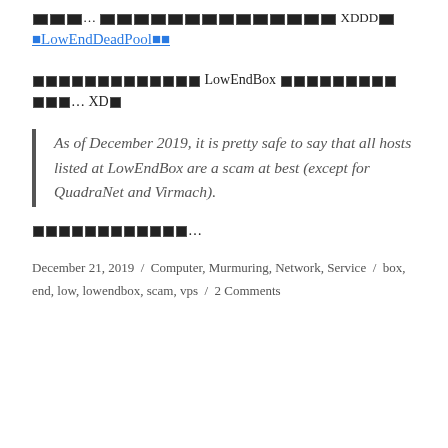🔲🔲🔲… 🔲🔲🔲🔲🔲🔲🔲🔲🔲🔲🔲🔲🔲🔲🔲🔲 XDDD🔲 🔲LowEndDeadPool🔲🔲
🔲🔲🔲🔲🔲🔲🔲🔲🔲🔲🔲🔲🔲 LowEndBox 🔲🔲🔲🔲🔲🔲🔲🔲🔲 🔲🔲🔲… XD🔲
As of December 2019, it is pretty safe to say that all hosts listed at LowEndBox are a scam at best (except for QuadraNet and Virmach).
🔲🔲🔲🔲🔲🔲🔲🔲🔲🔲🔲🔲…
December 21, 2019 / Computer, Murmuring, Network, Service / box, end, low, lowendbox, scam, vps / 2 Comments